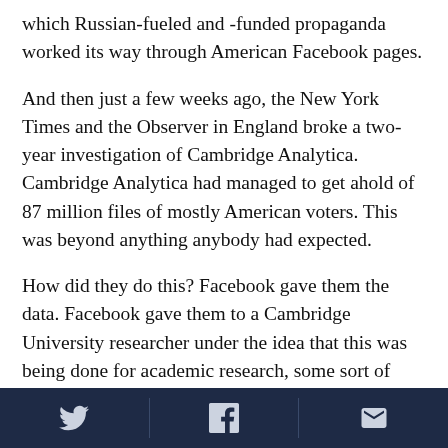which Russian-fueled and -funded propaganda worked its way through American Facebook pages.
And then just a few weeks ago, the New York Times and the Observer in England broke a two-year investigation of Cambridge Analytica. Cambridge Analytica had managed to get ahold of 87 million files of mostly American voters. This was beyond anything anybody had expected.
How did they do this? Facebook gave them the data. Facebook gave them to a Cambridge University researcher under the idea that this was being done for academic research, some sort of personality analysis going on in psychology labs, but in fact that
[Twitter icon] [Facebook icon] [Email icon]